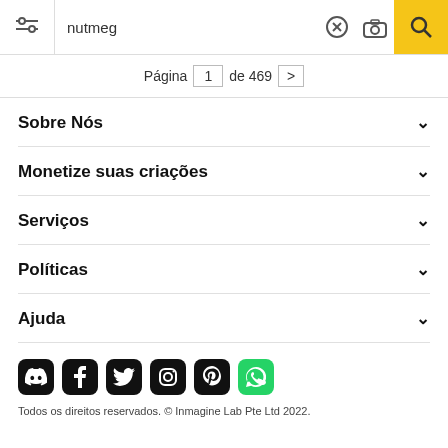nutmeg — search bar with filter, clear, camera, and search icons
Página 1 de 469 >
Sobre Nós
Monetize suas criações
Serviços
Políticas
Ajuda
[Figure (infographic): Social media icons row: Discord, Facebook, Twitter, Instagram, Pinterest, WhatsApp]
Todos os direitos reservados. © Inmagine Lab Pte Ltd 2022.